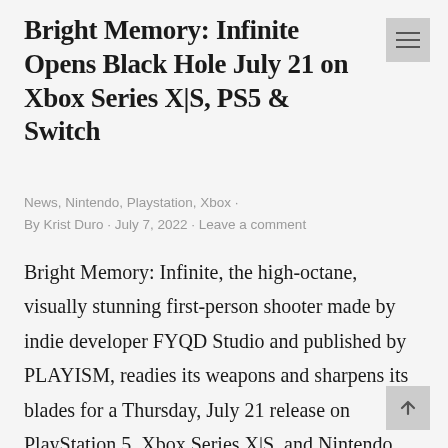Bright Memory: Infinite Opens Black Hole July 21 on Xbox Series X|S, PS5 & Switch
News, Nintendo, Playstation, Xbox · By Krist Duro · July 7, 2022 · Leave a comment
Bright Memory: Infinite, the high-octane, visually stunning first-person shooter made by indie developer FYQD Studio and published by PLAYISM, readies its weapons and sharpens its blades for a Thursday, July 21 release on PlayStation 5, Xbox Series X|S, and Nintendo Switch. Special agent Shelia finds herself in the